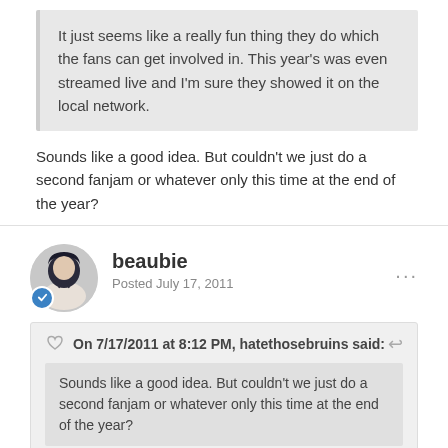It just seems like a really fun thing they do which the fans can get involved in. This year's was even streamed live and I'm sure they showed it on the local network.
Sounds like a good idea. But couldn't we just do a second fanjam or whatever only this time at the end of the year?
beaubie
Posted July 17, 2011
On 7/17/2011 at 8:12 PM, hatethosebruins said:
Sounds like a good idea. But couldn't we just do a second fanjam or whatever only this time at the end of the year?
I suppose. I just like the way they do it. And if I'm not mistaken, famjam's